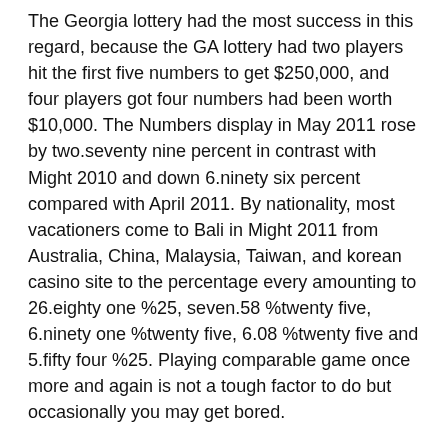The Georgia lottery had the most success in this regard, because the GA lottery had two players hit the first five numbers to get $250,000, and four players got four numbers had been worth $10,000. The Numbers display in May 2011 rose by two.seventy nine percent in contrast with Might 2010 and down 6.ninety six percent compared with April 2011. By nationality, most vacationers come to Bali in Might 2011 from Australia, China, Malaysia, Taiwan, and korean casino site to the percentage every amounting to 26.eighty one %25, seven.58 %twenty five, 6.ninety one %twenty five, 6.08 %twenty five and 5.fifty four %25. Playing comparable game once more and again is not a tough factor to do but occasionally you may get bored.
These concepts may possibly indicate employed to people who are convinced more than establishing a good cell phone sport task. The leading sites that cater to Mac